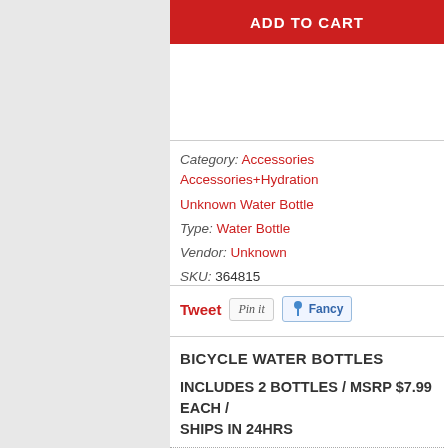ADD TO CART
Category: Accessories Accessories+Hydration Unknown Water Bottle
Type: Water Bottle
Vendor: Unknown
SKU: 364815
Tweet  Pin it  Fancy
BICYCLE WATER BOTTLES
INCLUDES 2 BOTTLES / MSRP $7.99 EACH / SHIPS IN 24HRS
SPECIFICATIONS: